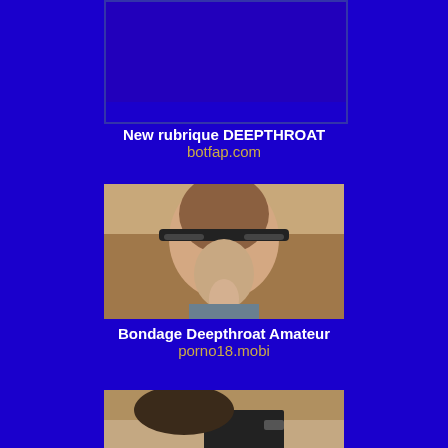[Figure (photo): Partially visible image at top, dark blue/purple rectangle]
New rubrique DEEPTHROAT
botfap.com
[Figure (photo): Woman with glasses and brown hair performing oral sex, amateur webcam photo]
Bondage Deepthroat Amateur
porno18.mobi
[Figure (photo): Partially visible image at bottom, person with dark hair]